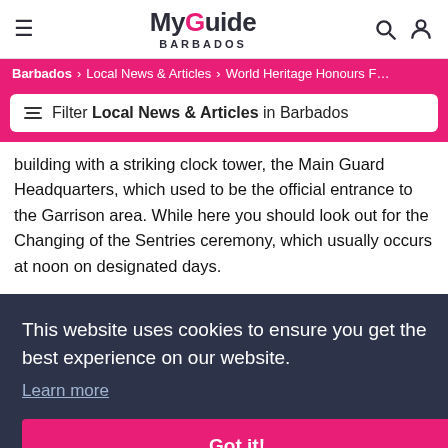My Guide BARBADOS
Barbados > Local News & Articles > World Heritage Honours F...
Filter Local News & Articles in Barbados
building with a striking clock tower, the Main Guard Headquarters, which used to be the official entrance to the Garrison area. While here you should look out for the Changing of the Sentries ceremony, which usually occurs at noon on designated days.
This website uses cookies to ensure you get the best experience on our website. Learn more Got it!
for any attacker or pirate.